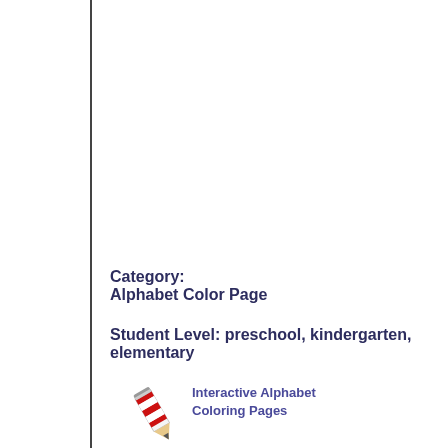Category:
Alphabet Color Page
Student Level: preschool, kindergarten, elementary
[Figure (illustration): Pencil icon (red and white striped pencil) next to text reading 'Interactive Alphabet Coloring Pages']
Alphabet Coloring Pages
Letter A
Letter B
Letter C